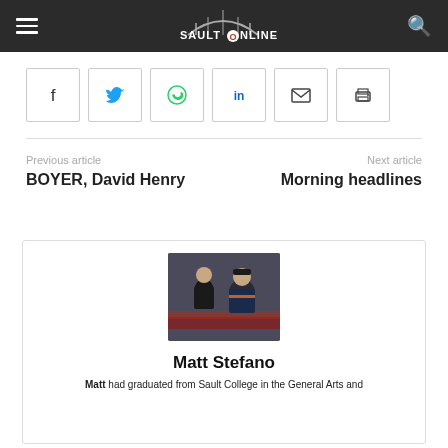SaultOnline
[Figure (other): Social share buttons: Facebook, Twitter, WhatsApp, LinkedIn, Email, Print]
Previous article | BOYER, David Henry | Next article | Morning headlines
[Figure (photo): Photo of Matt Stefano with a hockey player on ice rink background]
Matt Stefano
Matt had graduated from Sault College in the General Arts and